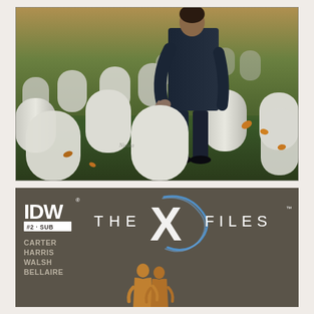[Figure (illustration): Comic book cover illustration showing a man in a dark suit standing among white cemetery headstones on green grass with autumn leaves. The figure stands tall with one arm slightly extended. Multiple white rounded-top grave markers fill the background. Artist signature visible near bottom left of illustration.]
[Figure (illustration): Comic book cover bottom section on dark olive/brown background. IDW logo with '#2 - SUB' label at top left. Large stylized 'THE X FILES' logo with swooping X graphic. Creator credits: CARTER, HARRIS, WALSH, BELLAIRE. Silhouette of two figures (Mulder and Scully) in gold/amber color at bottom center.]